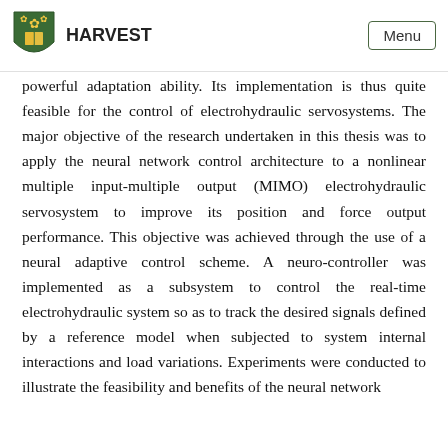HARVEST | Menu
powerful adaptation ability. Its implementation is thus quite feasible for the control of electrohydraulic servosystems. The major objective of the research undertaken in this thesis was to apply the neural network control architecture to a nonlinear multiple input-multiple output (MIMO) electrohydraulic servosystem to improve its position and force output performance. This objective was achieved through the use of a neural adaptive control scheme. A neuro-controller was implemented as a subsystem to control the real-time electrohydraulic system so as to track the desired signals defined by a reference model when subjected to system internal interactions and load variations. Experiments were conducted to illustrate the feasibility and benefits of the neural network